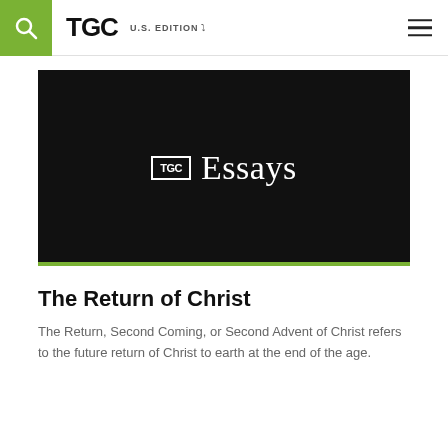TGC U.S. EDITION
[Figure (logo): TGC Essays logo on black background with green bottom border strip]
The Return of Christ
The Return, Second Coming, or Second Advent of Christ refers to the future return of Christ to earth at the end of the age.